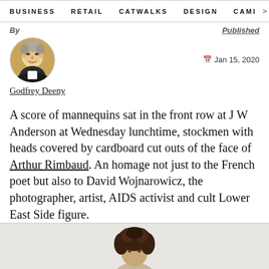BUSINESS   RETAIL   CATWALKS   DESIGN   CAMI  >
By
Published
[Figure (photo): Circular author headshot of Godfrey Deeny, a man with grey hair wearing a dark jacket]
Godfrey Deeny
Jan 15, 2020
A score of mannequins sat in the front row at J W Anderson at Wednesday lunchtime, stockmen with heads covered by cardboard cut outs of the face of Arthur Rimbaud. An homage not just to the French poet but also to David Wojnarowicz, the photographer, artist, AIDS activist and cult Lower East Side figure.
[Figure (photo): Partial photo of a person with dark curly hair, cropped at bottom of page, against a light grey background]